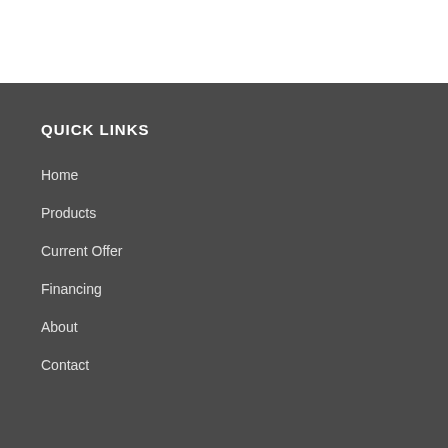QUICK LINKS
Home
Products
Current Offer
Financing
About
Contact